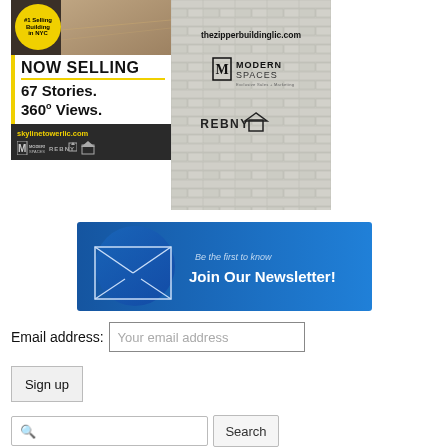[Figure (infographic): Advertisement for Skyline Tower LIC: '#1 Selling Building in NYC' badge, building interior photo, 'NOW SELLING', '67 Stories. 360° Views.', 'skylinetowerlic.com', ModernSpaces and REBNY logos]
[Figure (infographic): Advertisement for thezipperbuildinglic.com with ModernSpaces logo ('M MODERNSPACES Exclusive Sales + Marketing') and REBNY fair housing logo on brick-pattern background]
[Figure (infographic): Newsletter signup banner: envelope icon graphic, 'Be the first to know', 'Join Our Newsletter!' on blue gradient background]
Email address:
Your email address
Sign up
Search